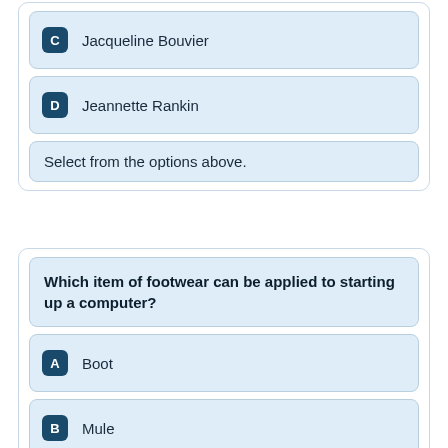C  Jacqueline Bouvier
D  Jeannette Rankin
Select from the options above.
Which item of footwear can be applied to starting up a computer?
A  Boot
B  Mule